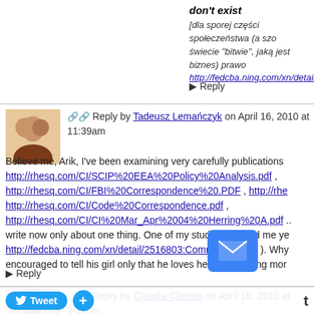don't exist
[dla sporej części społeczeństwa (a szo... świecie "bitwie", jaką jest biznes) prawo... http://fedcba.ning.com/xn/detail/251680...
► Reply
⊕⊕ Reply by Tadeusz Lemańczyk on April 16, 2010 at 11:39am
Believe me, Arik, I've been examining very carefully publications... http://rhesq.com/CI/SCIP%20EEA%20Policy%20Analysis.pdf , http://rhesq.com/CI/FBI%20Correspondence%20.PDF , http://rhe... http://rhesq.com/CI/Code%20Correspondence.pdf , http://rhesq.com/CI/CI%20Mar_Apr%2004%20Herring%20A.pdf ... write now only about one thing. One of my students incited me ye... http://fedcba.ning.com/xn/detail/2516803:Comment:10416 ). Why... encouraged to tell his girl only that he loves her, and nothing mor...
► Reply
⊕⊕ Reply by Claudia Clayton on April 16, 2010 at 2:31pm
Thanks for posting this Arik. I am a relative newcomer to CI - only... invaluable to me when I began in this specialty to un... and the... APPLY and do this work. Two different opportunities... Rich...